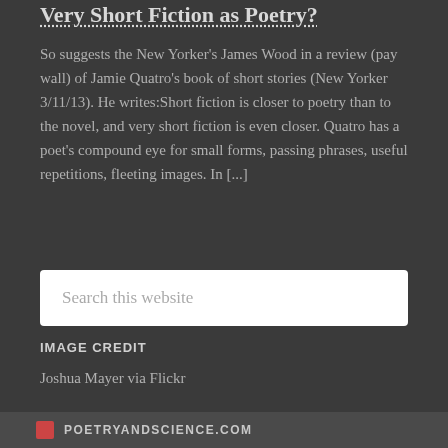Very Short Fiction as Poetry?
So suggests the New Yorker's James Wood in a review (pay wall) of Jamie Quatro's book of short stories (New Yorker 3/11/13). He writes:Short fiction is closer to poetry than to the novel, and very short fiction is even closer. Quatro has a poet's compound eye for small forms, passing phrases, useful repetitions, fleeting images. In [...]
Search this website
IMAGE CREDIT
Joshua Mayer via Flickr
POETRYANDSCIENCE.COM